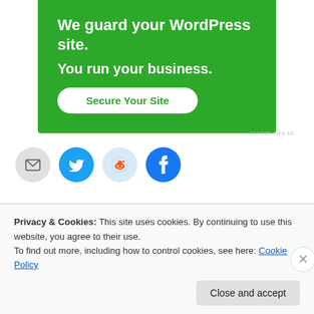[Figure (screenshot): Green advertisement banner for a WordPress security service. Bold white text reads: 'We guard your WordPress site. You run your business.' with a white rounded button labeled 'Secure Your Site' in green text.]
REPORT THIS AD
[Figure (infographic): Row of four circular social share buttons: email (gray), Twitter (blue bird), Reddit (light blue alien), Facebook (dark blue f).]
Loading...
Privacy & Cookies: This site uses cookies. By continuing to use this website, you agree to their use.
To find out more, including how to control cookies, see here: Cookie Policy
Close and accept